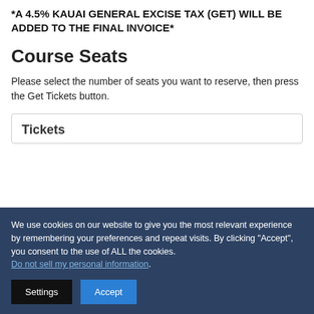*A 4.5% KAUAI GENERAL EXCISE TAX (GET) WILL BE ADDED TO THE FINAL INVOICE*
Course Seats
Please select the number of seats you want to reserve, then press the Get Tickets button.
Tickets
We use cookies on our website to give you the most relevant experience by remembering your preferences and repeat visits. By clicking “Accept”, you consent to the use of ALL the cookies. Do not sell my personal information.
Settings
Accept